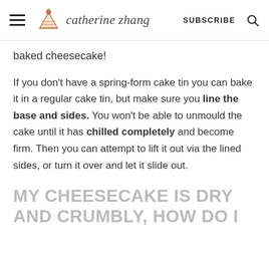catherine zhang — SUBSCRIBE
baked cheesecake!
If you don't have a spring-form cake tin you can bake it in a regular cake tin, but make sure you line the base and sides. You won't be able to unmould the cake until it has chilled completely and become firm. Then you can attempt to lift it out via the lined sides, or turn it over and let it slide out.
MY CHEESECAKE IS DRY AND CRUMBLY, HOW DO I